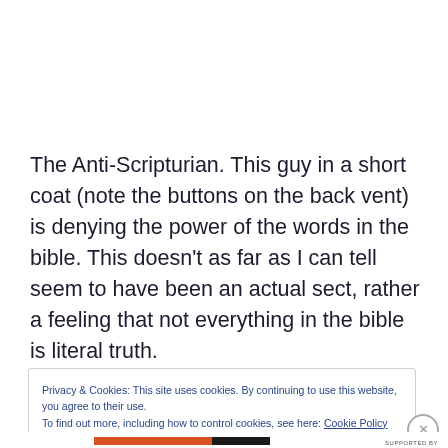The Anti-Scripturian. This guy in a short coat (note the buttons on the back vent) is denying the power of the words in the bible. This doesn't as far as I can tell seem to have been an actual sect, rather a feeling that not everything in the bible is literal truth.
Privacy & Cookies: This site uses cookies. By continuing to use this website, you agree to their use.
To find out more, including how to control cookies, see here: Cookie Policy